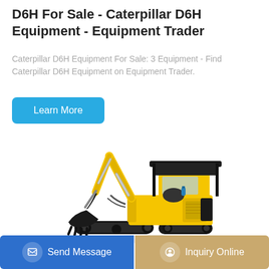D6H For Sale - Caterpillar D6H Equipment - Equipment Trader
Caterpillar D6H Equipment For Sale: 3 Equipment - Find Caterpillar D6H Equipment on Equipment Trader.
Learn More
[Figure (photo): Yellow and black mini excavator with bucket attachment and canopy, shown on white background]
Send Message
Inquiry Online